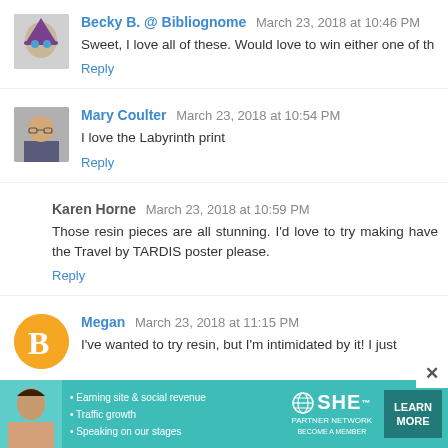Becky B. @ Bibliognome  March 23, 2018 at 10:46 PM
Sweet, I love all of these. Would love to win either one of th
Reply
Mary Coulter  March 23, 2018 at 10:54 PM
I love the Labyrinth print
Reply
Karen Horne  March 23, 2018 at 10:59 PM
Those resin pieces are all stunning. I'd love to try making have the Travel by TARDIS poster please.
Reply
Megan  March 23, 2018 at 11:15 PM
I've wanted to try resin, but I'm intimidated by it! I just
[Figure (infographic): SHE Partner Network advertisement banner with text: Earning site & social revenue, Traffic growth, Speaking on our stages. Logo: SHE Partner Network. Button: LEARN MORE.]